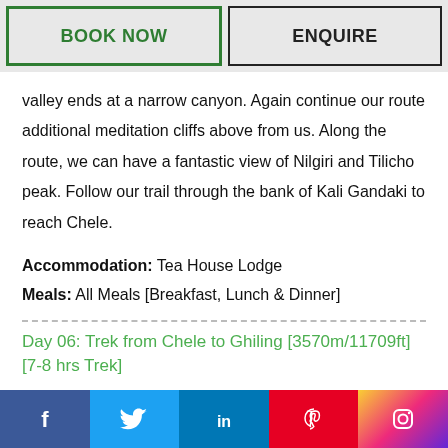BOOK NOW
ENQUIRE
valley ends at a narrow canyon. Again continue our route additional meditation cliffs above from us. Along the route, we can have a fantastic view of Nilgiri and Tilicho peak. Follow our trail through the bank of Kali Gandaki to reach Chele.
Accommodation: Tea House Lodge
Meals: All Meals [Breakfast, Lunch & Dinner]
Day 06: Trek from Chele to Ghiling [3570m/11709ft] [7-8 hrs Trek]
Today we leave Chele and follow the trail that